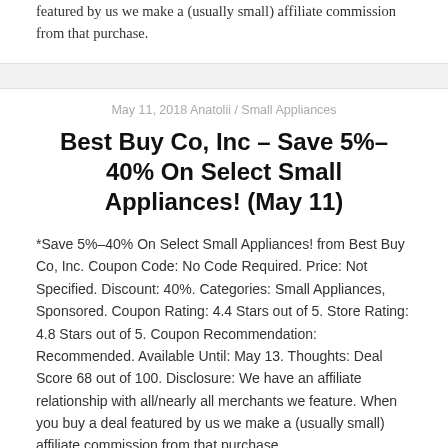featured by us we make a (usually small) affiliate commission from that purchase.
May 11, 2018 Anatolii / Small Appliances
Best Buy Co, Inc – Save 5%–40% On Select Small Appliances! (May 11)
*Save 5%–40% On Select Small Appliances! from Best Buy Co, Inc. Coupon Code: No Code Required. Price: Not Specified. Discount: 40%. Categories: Small Appliances, Sponsored. Coupon Rating: 4.4 Stars out of 5. Store Rating: 4.8 Stars out of 5. Coupon Recommendation: Recommended. Available Until: May 13. Thoughts: Deal Score 68 out of 100. Disclosure: We have an affiliate relationship with all/nearly all merchants we feature. When you buy a deal featured by us we make a (usually small) affiliate commission from that purchase.